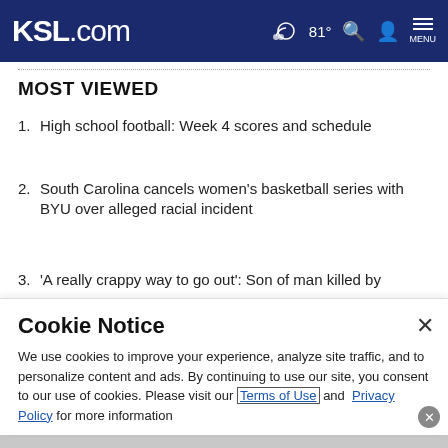KSL.com  81°  MENU
MOST VIEWED
High school football: Week 4 scores and schedule
South Carolina cancels women's basketball series with BYU over alleged racial incident
'A really crappy way to go out': Son of man killed by
Cookie Notice
We use cookies to improve your experience, analyze site traffic, and to personalize content and ads. By continuing to use our site, you consent to our use of cookies. Please visit our Terms of Use and Privacy Policy for more information